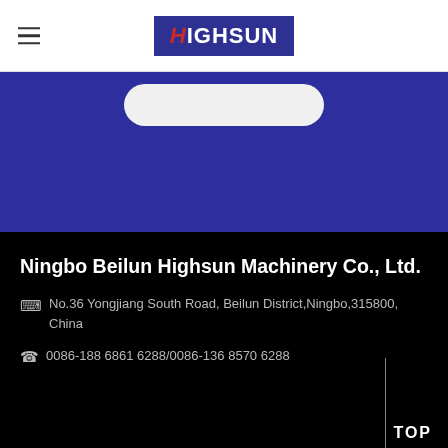HIGHSUN (logo)
[Figure (other): Blue banner section with rounded white button shape at top]
Ningbo Beilun Highsun Machinery Co., Ltd.
No.36 Yongjiang South Road, Beilun District,Ningbo,315800, China
0086-188 6861 6288/0086-136 8570 6288